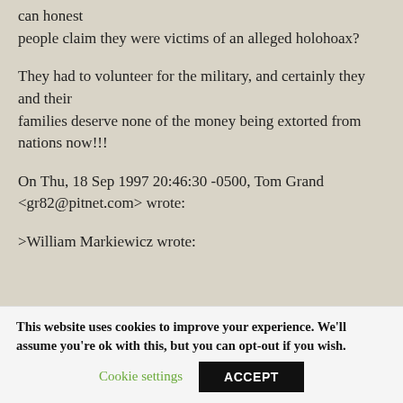can honest people claim they were victims of an alleged holohoax?
They had to volunteer for the military, and certainly they and their families deserve none of the money being extorted from nations now!!!
On Thu, 18 Sep 1997 20:46:30 -0500, Tom Grand <gr82@pitnet.com> wrote:
>William Markiewicz wrote:
This website uses cookies to improve your experience. We'll assume you're ok with this, but you can opt-out if you wish.
Cookie settings | ACCEPT